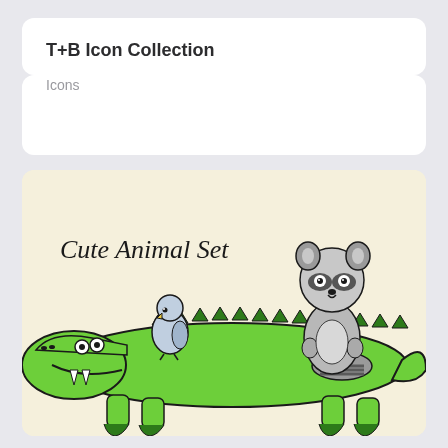T+B Icon Collection
Icons
[Figure (illustration): Cute Animal Set illustration showing a cartoon green crocodile/alligator lying flat, with a small grey bird standing on its back near the left, and a grey raccoon sitting on its back toward the right. The text 'Cute Animal Set' appears in italic serif font on the upper left of the illustration. The background is a pale cream/yellow color.]